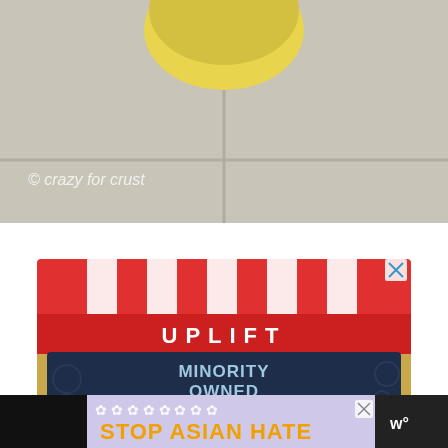[Figure (photo): Partial photo of a yellow object (possibly a lemon or yellow balloon) against a light background, with watermark '© crazy for crust' overlaid in lower left]
[Figure (illustration): Advertisement illustration for UPLIFT Minority Owned Businesses. Shows a storefront awning with red and white vertical stripes, the word UPLIFT in white letters on a red banner, and a dark navy sign below reading MINORITY OWNED BUSINESSES in large bold light-blue letters. Gold/tan border frame. Small X close button in upper right corner.]
[Figure (illustration): Advertisement banner reading STOP ASIAN HATE in large yellow letters on a light purple background with white flower decorations and a female character illustration. Small X close button visible. Partially cut off at bottom.]